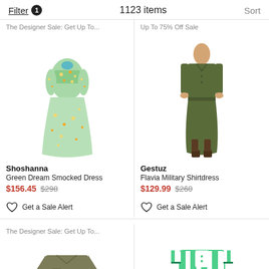Filter 1   1123 items   Sort
[Figure (photo): Green floral smocked dress on model - Shoshanna Green Dream Smocked Dress]
The Designer Sale: Get Up To...
Shoshanna
Green Dream Smocked Dress
$156.45 $298
Get a Sale Alert
[Figure (photo): Olive military shirtdress on model - Gestuz Flavia Military Shirtdress]
Up To 75% Off Sale
Gestuz
Flavia Military Shirtdress
$129.99 $260
Get a Sale Alert
[Figure (photo): Olive/khaki short-sleeve button-up shirt]
The Designer Sale: Get Up To...
[Figure (photo): Green and white striped short-sleeve dress]